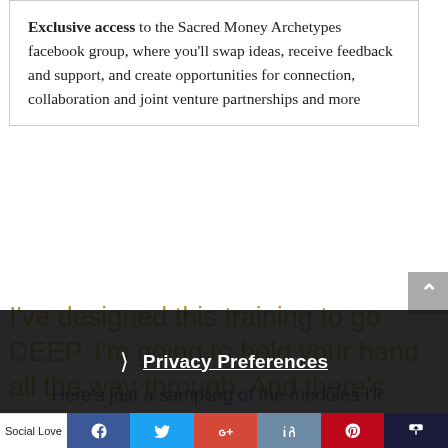Exclusive access to the Sacred Money Archetypes facebook group, where you'll swap ideas, receive feedback and support, and create opportunities for connection, collaboration and joint venture partnerships and more
I've designed this training to go DEEP. I'm going to hold your hand all the way through. And there's more...
Here's just a sampling of the modules I'll personally cover in detail during this exciting teleseminar training...
Privacy Preferences